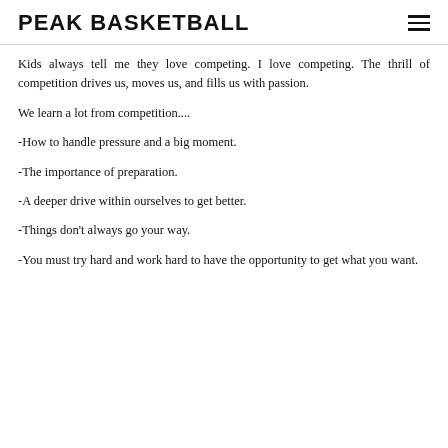PEAK BASKETBALL
Kids always tell me they love competing. I love competing. The thrill of competition drives us, moves us, and fills us with passion.
We learn a lot from competition....
-How to handle pressure and a big moment.
-The importance of preparation.
-A deeper drive within ourselves to get better.
-Things don't always go your way.
-You must try hard and work hard to have the opportunity to get what you want.